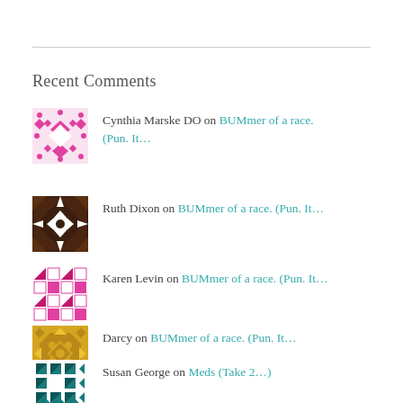Recent Comments
Cynthia Marske DO on BUMmer of a race. (Pun. It…
Ruth Dixon on BUMmer of a race. (Pun. It…
Karen Levin on BUMmer of a race. (Pun. It…
Darcy on BUMmer of a race. (Pun. It…
Susan George on Meds (Take 2…)